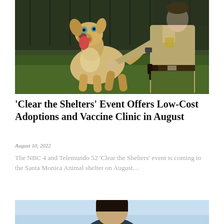[Figure (photo): A light-colored dog with its mouth open and tongue out standing on artificial grass, being held by a person in a sheriff or animal control officer uniform]
‘Clear the Shelters’ Event Offers Low-Cost Adoptions and Vaccine Clinic in August
August 10, 2022
The NBC 4 and Telemundo 52 ‘Clear the Shelters’ event is coming to the Santa Monica Animal shelter on August…
[Figure (photo): Partial view of a person with dark hair against a light blue background, cropped at the top of the frame]